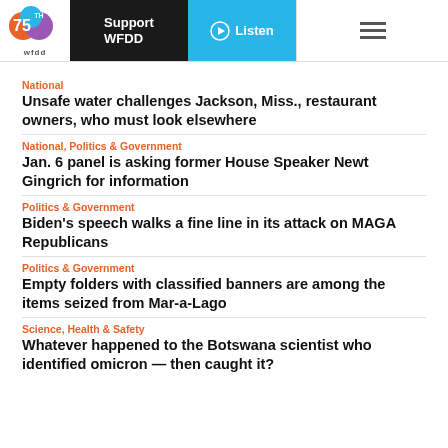WFDD 75th — Support WFDD | Listen
National
Unsafe water challenges Jackson, Miss., restaurant owners, who must look elsewhere
National, Politics & Government
Jan. 6 panel is asking former House Speaker Newt Gingrich for information
Politics & Government
Biden's speech walks a fine line in its attack on MAGA Republicans
Politics & Government
Empty folders with classified banners are among the items seized from Mar-a-Lago
Science, Health & Safety
Whatever happened to the Botswana scientist who identified omicron — then caught it?